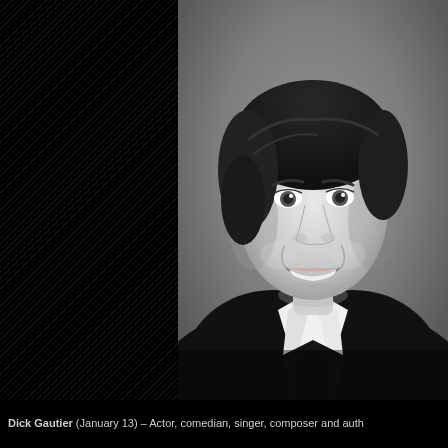[Figure (photo): Black and white headshot portrait of Dick Gautier, a man with dark swept-back hair, smiling, wearing a dark jacket with a wide white collar/lapel]
Dick Gautier (January 13) – Actor, comedian, singer, composer and auth...